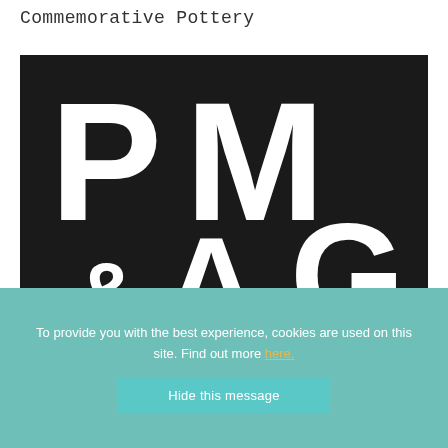Commemorative Pottery
[Figure (logo): PM&AG logo — large white stylized letters P, M, &, A, G on a black background]
To provide you with the best experience, cookies are used on this site. Find out more here.
Hide this message